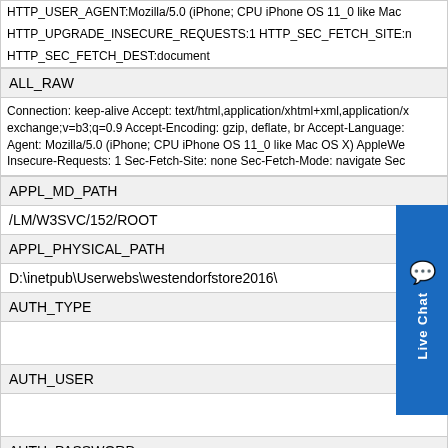| HTTP_USER_AGENT:Mozilla/5.0 (iPhone; CPU iPhone OS 11_0 like Mac OS X) AppleWebKit/604.1.38 (KHTML, like Gecko) Version/11.0 Mobile/15A372 Safari/604.1 |
| HTTP_UPGRADE_INSECURE_REQUESTS:1 HTTP_SEC_FETCH_SITE:none |
| HTTP_SEC_FETCH_DEST:document |
| ALL_RAW |
| Connection: keep-alive Accept: text/html,application/xhtml+xml,application/xml;q=0.9,*/*;q=0.8,application/signed-exchange;v=b3;q=0.9 Accept-Encoding: gzip, deflate, br Accept-Language: en-US,en;q=0.9 User-Agent: Mozilla/5.0 (iPhone; CPU iPhone OS 11_0 like Mac OS X) AppleWebKit/604.1.38 (KHTML, like Gecko) Upgrade-Insecure-Requests: 1 Sec-Fetch-Site: none Sec-Fetch-Mode: navigate Sec-Fetch-Dest: document |
| APPL_MD_PATH |
| /LM/W3SVC/152/ROOT |
| APPL_PHYSICAL_PATH |
| D:\inetpub\Userwebs\westendorfstore2016\ |
| AUTH_TYPE |
|  |
| AUTH_USER |
|  |
| AUTH_PASSWORD |
|  |